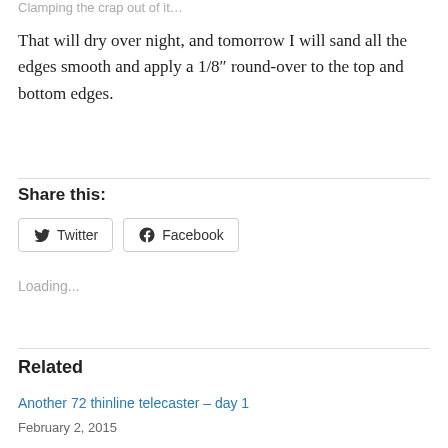Clamping the crap out of it…
That will dry over night, and tomorrow I will sand all the edges smooth and apply a 1/8″ round-over to the top and bottom edges.
Share this:
Loading...
Related
Another 72 thinline telecaster – day 1
February 2, 2015